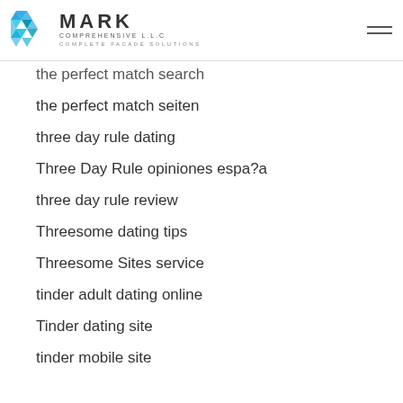MARK COMPREHENSIVE L.L.C — COMPLETE FACADE SOLUTIONS
the perfect match search
the perfect match seiten
three day rule dating
Three Day Rule opiniones espa?a
three day rule review
Threesome dating tips
Threesome Sites service
tinder adult dating online
Tinder dating site
tinder mobile site